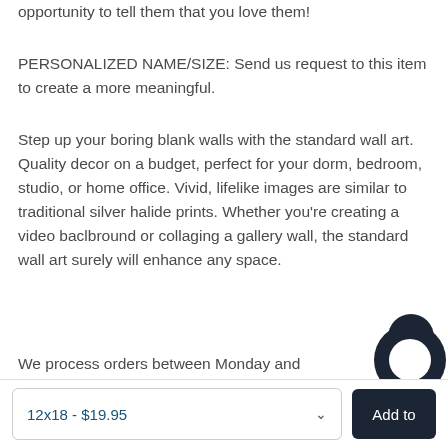opportunity to tell them that you love them!
PERSONALIZED NAME/SIZE: Send us request to this item to create a more meaningful.
Step up your boring blank walls with the standard wall art. Quality decor on a budget, perfect for your dorm, bedroom, studio, or home office. Vivid, lifelike images are similar to traditional silver halide prints. Whether you’re creating a video baclbround or collaging a gallery wall, the standard wall art surely will enhance any space.
We process orders between Monday and Friday. Orders will usually be processed within 1 – 5
12x18 - $19.95
Add to